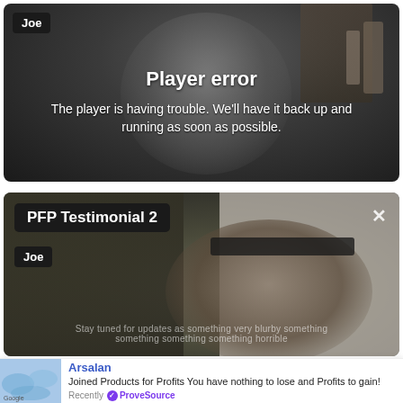[Figure (screenshot): Video player showing a blurry face with a 'Joe' label in the top left. Overlay displays a player error message.]
Player error
The player is having trouble. We'll have it back up and running as soon as possible.
[Figure (screenshot): Second video player titled 'PFP Testimonial 2' with a 'Joe' label, showing a blurry face with a cap/headband. An X close button is visible top right.]
Arsalan
Joined Products for Profits You have nothing to lose and Profits to gain!
Recently ✓ ProveSource